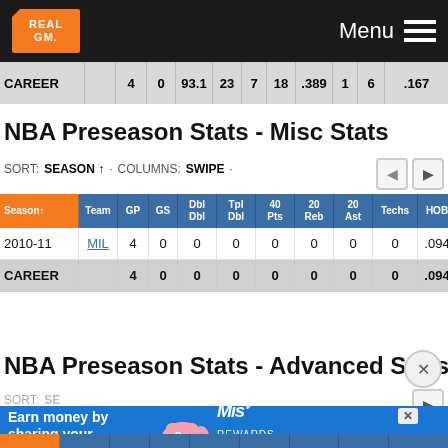RealGM - Menu
| CAREER |  | 4 | 0 | 93.1 | 23 | 7 | 18 | .389 | 1 | 6 | .167 |
| --- | --- | --- | --- | --- | --- | --- | --- | --- | --- | --- | --- |
NBA Preseason Stats - Misc Stats
SORT: SEASON ↑ · COLUMNS: SWIPE ·
| Season↑ | Team | GP | GS | Dbl Dbl | Tpl Dbl | 40 Pts | 20 Reb | 20 Ast | Techs | HOB | Ast/TO |
| --- | --- | --- | --- | --- | --- | --- | --- | --- | --- | --- | --- |
| 2010-11 | MIL | 4 | 0 | 0 | 0 | 0 | 0 | 0 | 0 | .094 | 0.80 |
| CAREER |  | 4 | 0 | 0 | 0 | 0 | 0 | 0 | 0 | .094 | 0.80 |
NBA Preseason Stats - Advanced Stats
[Figure (other): Advertisement banner: Earn money by sharing your opinions - Mist Rewards SIGN UP]